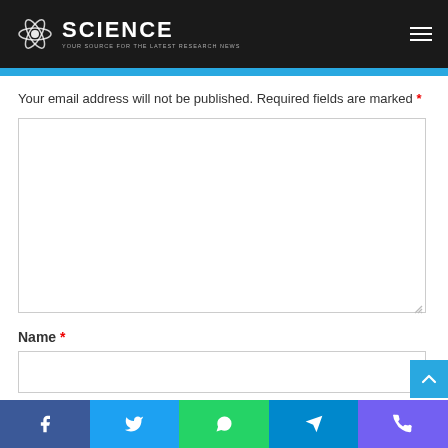SCIENCE — Your source for the latest research news
Your email address will not be published. Required fields are marked *
[Figure (screenshot): Large empty comment textarea with resize handle]
Name *
[Figure (screenshot): Name input field (empty text box)]
Email *